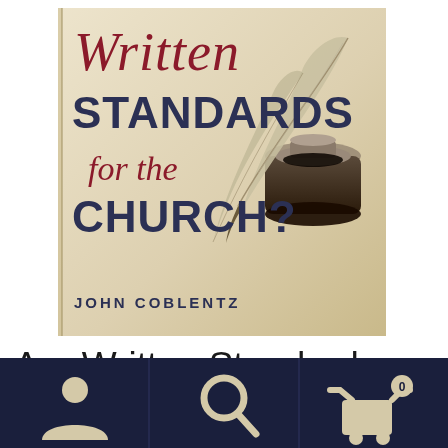[Figure (photo): Book cover of 'Written Standards for the Church?' by John Coblentz. Cream/beige background with a quill feather and ink pot in the upper right corner. Title in red italic script ('Written'), bold dark navy sans-serif ('STANDARDS'), red italic script ('for the'), bold dark navy sans-serif ('CHURCH?'). Author name 'JOHN COBLENTZ' in small dark navy capitals at lower left.]
Are Written Standards
[Figure (other): Dark navy bottom navigation bar with three icon buttons: person/account icon on the left, search/magnifying glass icon in the center, and shopping cart with badge showing '0' on the right.]